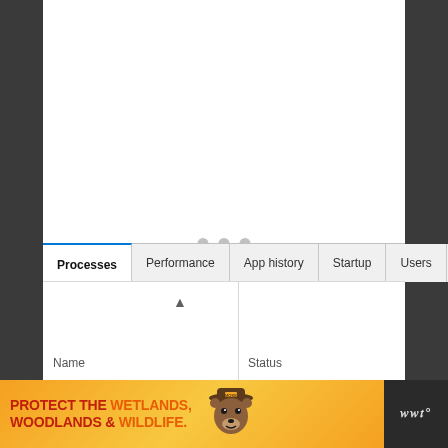[Figure (screenshot): Windows Task Manager loading screen with three gray dots centered on a white background, showing the Processes tab selected and Name/Status column headers visible]
[Figure (screenshot): Advertisement banner: 'PROTECT THE WETLANDS, WOODLANDS & WILDLIFE.' with Smokey Bear mascot image, on orange/yellow gradient background, with weather widget showing 'www' icon]